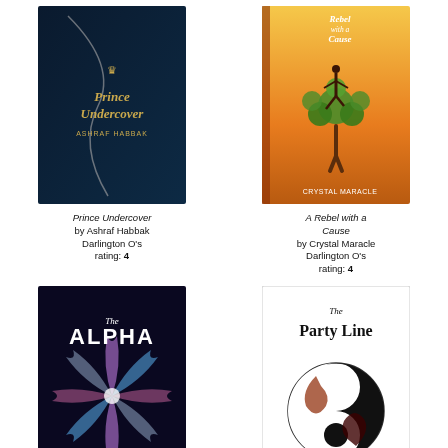[Figure (illustration): Book cover: Prince Undercover by Ashraf Habbak. Dark navy blue cover with a curved silver line and crown logo above the title in gold italic text.]
Prince Undercover by Ashraf Habbak Darlington O's rating: 4
[Figure (illustration): Book cover: A Rebel with a Cause by Crystal Maracle. Orange/yellow background with a tree of green leaves and a silhouette of a dancing woman in tree yoga pose.]
A Rebel with a Cause by Crystal Maracle Darlington O's rating: 4
[Figure (illustration): Book cover: The Alpha. Colorful swirling abstract light rays in pink, blue, and white on a dark background with the word ALPHA in large letters.]
[Figure (illustration): Book cover: The Party Line. White cover with gothic-style title text and a circular yin-yang style symbol featuring two dragons, one black and one reddish-brown.]